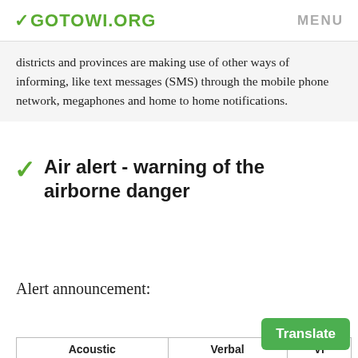✓GOTOWI.ORG    MENU
districts and provinces are making use of other ways of informing, like text messages (SMS) through the mobile phone network, megaphones and home to home notifications.
Air alert - warning of the airborne danger
Alert announcement:
| Acoustic | Verbal | Vi... |
| --- | --- | --- |